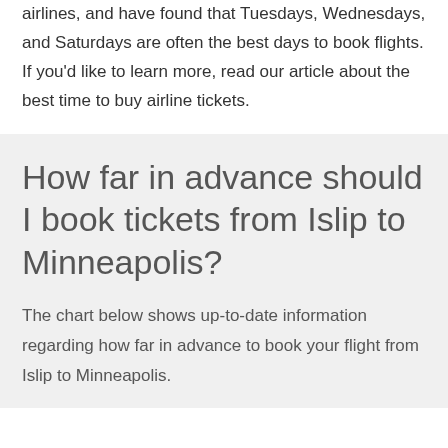airlines, and have found that Tuesdays, Wednesdays, and Saturdays are often the best days to book flights. If you'd like to learn more, read our article about the best time to buy airline tickets.
How far in advance should I book tickets from Islip to Minneapolis?
The chart below shows up-to-date information regarding how far in advance to book your flight from Islip to Minneapolis.